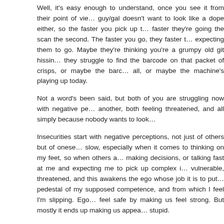Well, it's easy enough to understand, once you see it from their point of view. The guy/gal doesn't want to look like a dope either, so the faster you pick up the items, the faster they're going the scan the second. The faster you go, they faster they're expecting them to go. Maybe they're thinking you're a grumpy old git hissing at them as they struggle to find the barcode on that packet of crisps, or maybe the barcode won't scan at all, or maybe the machine's playing up today.
Not a word's been said, but both of you are struggling now with negative perceptions of one another, both feeling threatened, and all simply because nobody wants to look stupid.
Insecurities start with negative perceptions, not just of others but of oneself. I can be slow, especially when it comes to thinking on my feet, so when others are rushing me into making decisions, or talking fast at me and expecting me to pick up complex information, I feel vulnerable, threatened, and this awakens the ego whose job it is to put me back up on the pedestal of my supposed competence, and from which I feel I'm slipping. Ego tries to make us feel safe by making us feel strong. But mostly it ends up making us appear more stupid.
Here's another illustration. I called into a coffee shop, asked for a coffee. It cost (pay attention now) I offered the girl a fiver but she'd no change. So I pieced together the odds and bobs, including coppers, from the corners of all my pockets, and gave it to her. She took my fiver and gave me change (which I'd thought she was short of). I've no idea how much change she gave me, exactly, but it seemed a lot. I was now very confused and asked her about the fact she'd kept my fiver, even though I'd just given her the £1.75, and what was all the change, and was that right, and could she explain it to me?